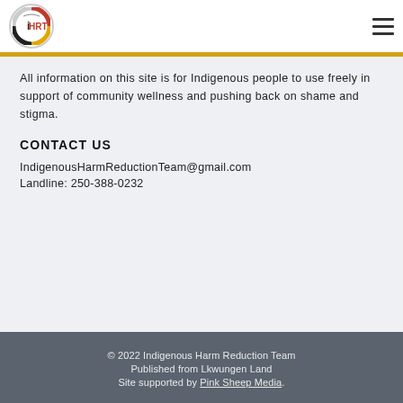[Figure (logo): iHRT circular logo with Indigenous colors (red, yellow, black) and text iHRT]
All information on this site is for Indigenous people to use freely in support of community wellness and pushing back on shame and stigma.
CONTACT US
IndigenousHarmReductionTeam@gmail.com
Landline: 250-388-0232
© 2022 Indigenous Harm Reduction Team
Published from Lkwungen Land
Site supported by Pink Sheep Media.